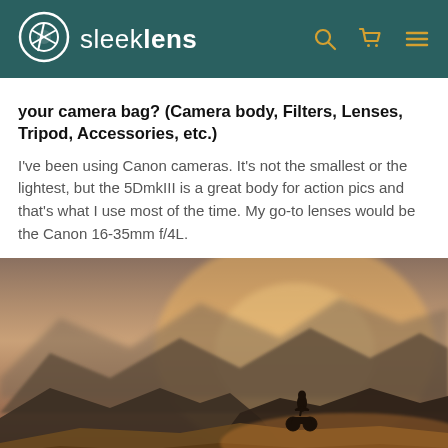sleeklens
your camera bag? (Camera body, Filters, Lenses, Tripod, Accessories, etc.)
I've been using Canon cameras. It's not the smallest or the lightest, but the 5DmkIII is a great body for action pics and that's what I use most of the time. My go-to lenses would be the Canon 16-35mm f/4L.
[Figure (photo): A motorbike rider silhouetted on a mountain ridge with dramatic hazy mountain peaks and golden light in the background]